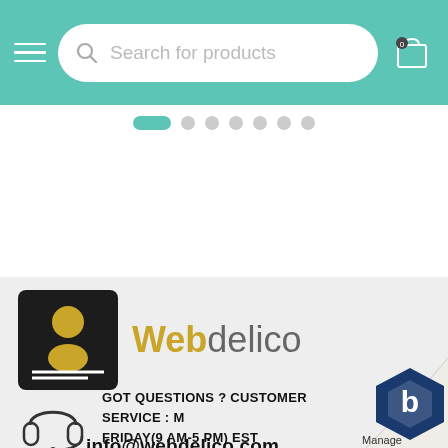Search for products
[Figure (screenshot): Navigation dots / pagination row with one active teal pill and 6 grey circles]
[Figure (logo): Webdelico logo: dark book icon with gold person silhouette and bold gold 'Web' + grey 'delico' text]
GOT QUESTIONS ? CUSTOMER SERVICE : M FRIDAY(9 AM-5 PM) EST
info@webdelico.com
[Figure (logo): Manage (blue hexagon) badge in page-curl corner]